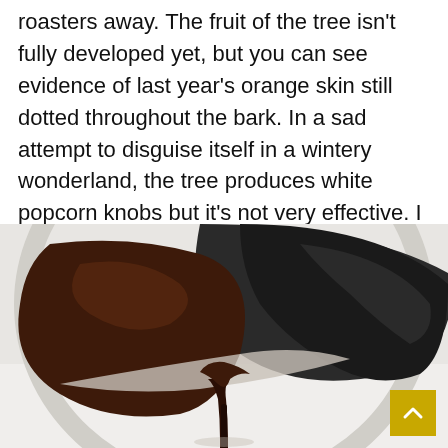roasters away. The fruit of the tree isn't fully developed yet, but you can see evidence of last year's orange skin still dotted throughout the bark. In a sad attempt to disguise itself in a wintery wonderland, the tree produces white popcorn knobs but it's not very effective. I can spot this bark from hundreds of feet away.
[Figure (photo): Close-up photo of dark chocolate sauce dripping from a bowl into a thin stream, with a white/light grey background. The bowl is dark/black with shiny chocolate coating inside.]